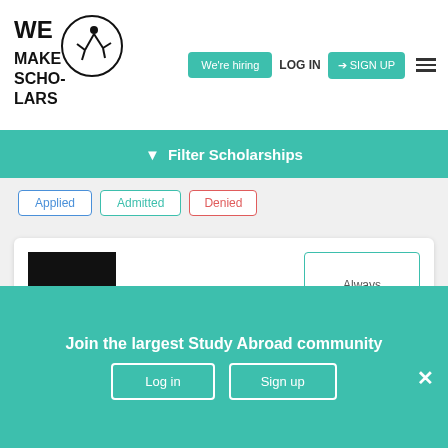[Figure (logo): We Make Scholars logo with acrobat figure inside circle]
We're hiring
LOG IN
SIGN UP
Filter Scholarships
Applied
Admitted
Denied
[Figure (logo): IWMF logo — white text on black square background]
Always Open
IWMF Howard G. Buffett Fund, 2022
Other
Join the largest Study Abroad community
Log in
Sign up